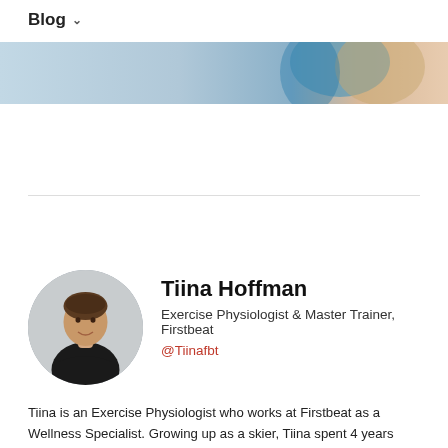Blog
[Figure (photo): Partial view of a person in a blue outfit, cropped hero banner image]
[Figure (photo): Circular portrait photo of Tiina Hoffman, a woman with short brown hair wearing a black top with arms crossed, smiling]
Tiina Hoffman
Exercise Physiologist & Master Trainer, Firstbeat
@Tiinafbt
Tiina is an Exercise Physiologist who works at Firstbeat as a Wellness Specialist. Growing up as a skier, Tiina spent 4 years cross-country ski racing and later 4 year coaching at the University of Alaska, Anchorage. After moving back to Finland, she found her way to Firstbeat after several years in overtraining and heart rate variability field studies at the Research Institute for Olympic Sports and the University of Jyväskylä. To maintain a good balance in her own life, she enjoys the outdoors